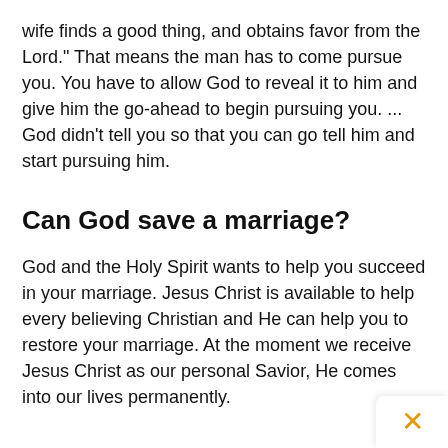wife finds a good thing, and obtains favor from the Lord." That means the man has to come pursue you. You have to allow God to reveal it to him and give him the go-ahead to begin pursuing you. ... God didn't tell you so that you can go tell him and start pursuing him.
Can God save a marriage?
God and the Holy Spirit wants to help you succeed in your marriage. Jesus Christ is available to help every believing Christian and He can help you to restore your marriage. At the moment we receive Jesus Christ as our personal Savior, He comes into our lives permanently.